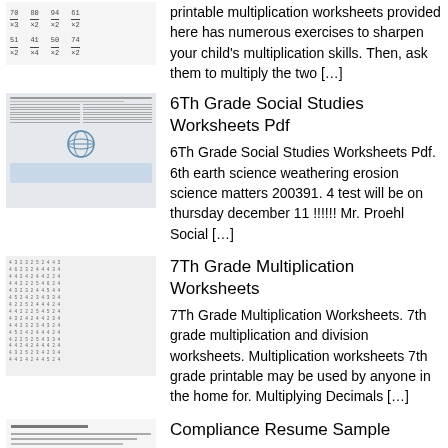[Figure (illustration): Thumbnail showing multiplication worksheet with two-digit numbers multiplied by single digit]
printable multiplication worksheets provided here has numerous exercises to sharpen your child's multiplication skills. Then, ask them to multiply the two […]
[Figure (illustration): Thumbnail of 6th Grade Social Studies worksheet with globe image]
6Th Grade Social Studies Worksheets Pdf
6Th Grade Social Studies Worksheets Pdf. 6th earth science weathering erosion science matters 200391. 4 test will be on thursday december 11 !!!!!! Mr. Proehl Social […]
[Figure (illustration): Thumbnail of 7th grade multiplication worksheet with number grid]
7Th Grade Multiplication Worksheets
7Th Grade Multiplication Worksheets. 7th grade multiplication and division worksheets. Multiplication worksheets 7th grade printable may be used by anyone in the home for. Multiplying Decimals […]
[Figure (illustration): Thumbnail of Compliance Resume Sample document]
Compliance Resume Sample
Compliance Resume Sample. Highly qualified compliance attorney with experience in the industry. Crafting a